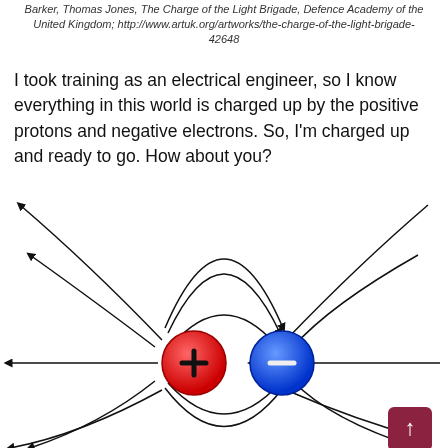Barker, Thomas Jones, The Charge of the Light Brigade, Defence Academy of the United Kingdom; http://www.artuk.org/artworks/the-charge-of-the-light-brigade-42648
I took training as an electrical engineer, so I know everything in this world is charged up by the positive protons and negative electrons. So, I'm charged up and ready to go. How about you?
[Figure (schematic): Diagram of electric field lines between a positive (red) charge and a negative (blue) charge, with arrows showing field direction flowing from positive to negative and outward/inward.]